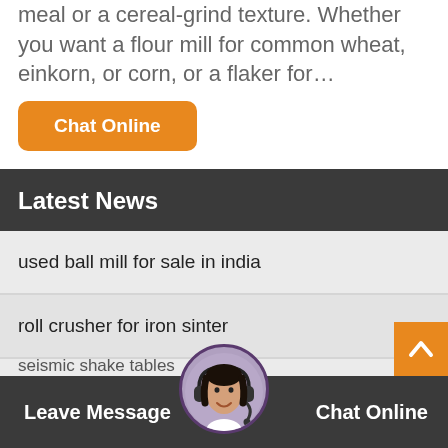meal or a cereal-grind texture. Whether you want a flour mill for common wheat, einkorn, or corn, or a flaker for…
Chat Online
Latest News
used ball mill for sale in india
roll crusher for iron sinter
manganese ore dressing
Birmingham high quality new dolomite rod mill manu
seismic shake tables
Leave Message
Chat Online